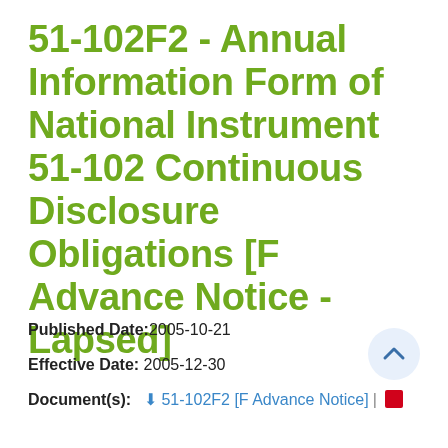51-102F2 - Annual Information Form of National Instrument 51-102 Continuous Disclosure Obligations [F Advance Notice - Lapsed]
Published Date: 2005-10-21
Effective Date: 2005-12-30
Document(s): 51-102F2 [F Advance Notice] | [PDF icon]